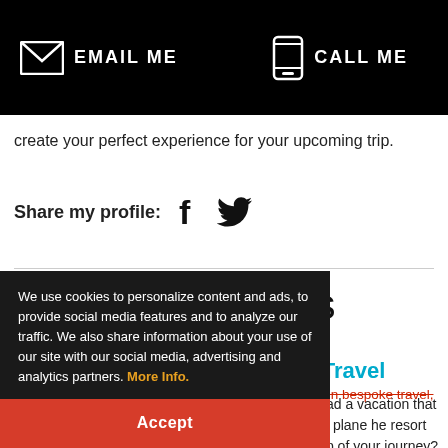EMAIL ME   CALL ME
create your perfect experience for your upcoming trip.
Share my profile:
Travel Specialties
[Figure (photo): Safari scene with trees and structures on peach/orange background]
Bespoke Travel
Have you ever had a vacation that fit ove? From the plane he resort check-in and step of your journey? Along every step of your journey? hat is exactly what Bespoke travel is. As a specialist in bespoke travel,
We use cookies to personalize content and ads, to provide social media features and to analyze our traffic. We also share information about your use of our site with our social media, advertising and analytics partners. More Info.